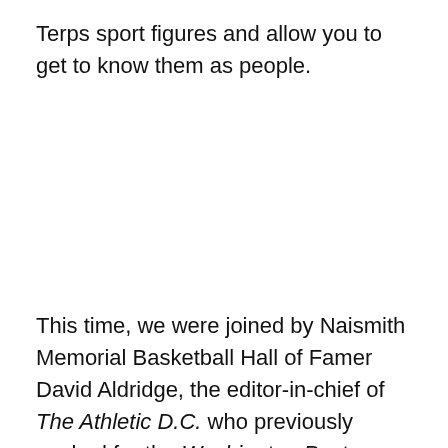Terps sport figures and allow you to get to know them as people.
This time, we were joined by Naismith Memorial Basketball Hall of Famer David Aldridge, the editor-in-chief of The Athletic D.C. who previously worked for the Washington Post, ESPN, and Turner Sports,